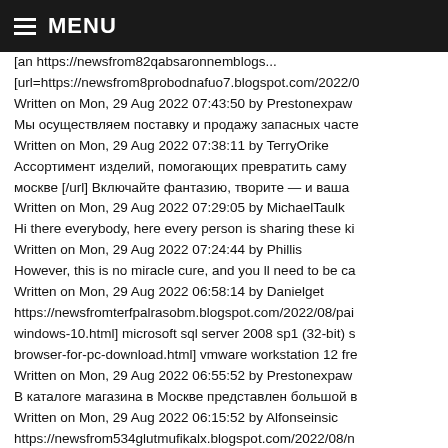MENU
[an https://newsfrom82qabsaronnemblogs...
[url=https://newsfrom8probodnafuo7.blogspot.com/2022/0
Written on Mon, 29 Aug 2022 07:43:50 by Prestonexpaw
Мы осуществляем поставку и продажу запасных часте
Written on Mon, 29 Aug 2022 07:38:11 by TerryOrike
Ассортимент изделий, помогающих превратить саму
москве [/url] Включайте фантазию, творите — и ваша
Written on Mon, 29 Aug 2022 07:29:05 by MichaelTaulk
Hi there everybody, here every person is sharing these ki
Written on Mon, 29 Aug 2022 07:24:44 by Phillis
However, this is no miracle cure, and you ll need to be ca
Written on Mon, 29 Aug 2022 06:58:14 by Danielget
https://newsfromterfpalrasobm.blogspot.com/2022/08/pai
windows-10.html] microsoft sql server 2008 sp1 (32-bit) s
browser-for-pc-download.html] vmware workstation 12 fre
Written on Mon, 29 Aug 2022 06:55:52 by Prestonexpaw
В каталоге магазина в Москве представлен большой в
Written on Mon, 29 Aug 2022 06:15:52 by Alfonseinsic
https://newsfrom534glutmufikalx.blogspot.com/2022/08/n
genuine windows 10 home product key free [url=https://n
substitute free , pixelmator align layers free ,vmware wor
Written on Mon, 29 Aug 2022 06:08:05 by Prestonexpaw